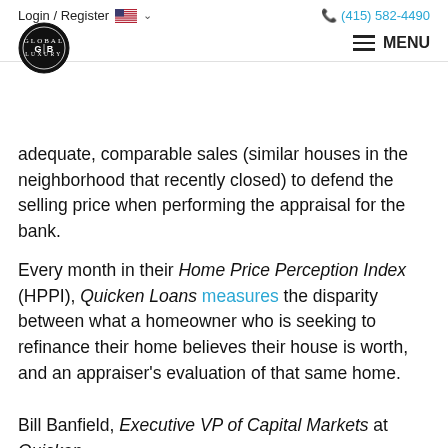Login / Register | (415) 582-4490 | MENU
adequate, comparable sales (similar houses in the neighborhood that recently closed) to defend the selling price when performing the appraisal for the bank.
Every month in their Home Price Perception Index (HPPI), Quicken Loans measures the disparity between what a homeowner who is seeking to refinance their home believes their house is worth, and an appraiser's evaluation of that same home.
Bill Banfield, Executive VP of Capital Markets at Quicken